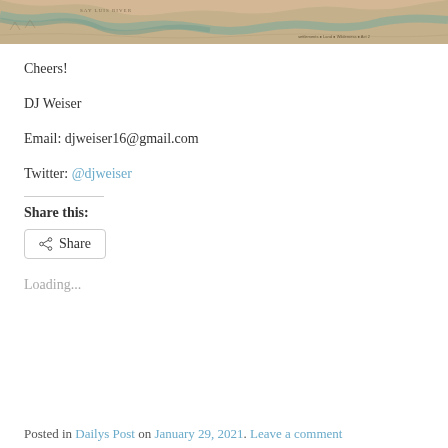[Figure (map): Partial view of a sepia/tan colored historical or game map showing a river labeled 'Say Luis River' with winding waterways and terrain markings. Small legend text visible at bottom right of image.]
Cheers!
DJ Weiser
Email: djweiser16@gmail.com
Twitter: @djweiser
Share this:
Loading...
Posted in Dailys Post on January 29, 2021. Leave a comment